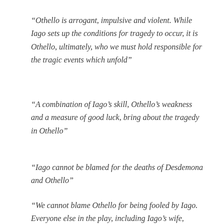“Othello is arrogant, impulsive and violent. While Iago sets up the conditions for tragedy to occur, it is Othello, ultimately, who we must hold responsible for the tragic events which unfold”
“A combination of Iago’s skill, Othello’s weakness and a measure of good luck, bring about the tragedy in Othello”
“Iago cannot be blamed for the deaths of Desdemona and Othello”
“We cannot blame Othello for being fooled by Iago. Everyone else in the play, including Iago’s wife, believes